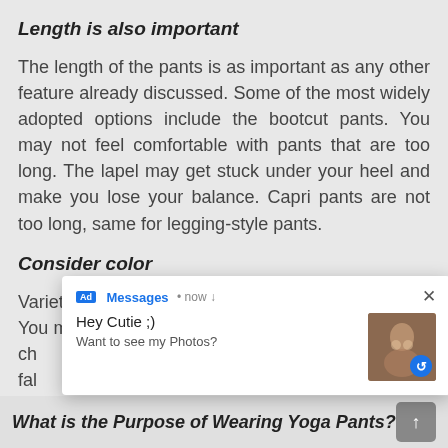Length is also important
The length of the pants is as important as any other feature already discussed. Some of the most widely adopted options include the bootcut pants. You may not feel comfortable with pants that are too long. The lapel may get stuck under your heel and make you lose your balance. Capri pants are not too long, same for legging-style pants.
Consider color
Variety of pattern and colors of pants are available. You may also want to consider sweat patch when ch... ton fal... bod ex... r to co... and da...
[Figure (screenshot): Ad popup notification overlay showing 'Messages • now' with 'Hey Cutie ;)' and 'Want to see my Photos?' text alongside a thumbnail image with a blue arrow button]
What is the Purpose of Wearing Yoga Pants?